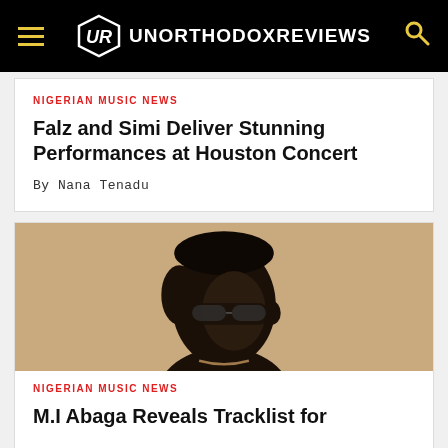UNORTHODOX REVIEWS
NIGERIAN MUSIC NEWS
Falz and Simi Deliver Stunning Performances at Houston Concert
By Nana Tenadu
[Figure (photo): Close-up side profile portrait of a young Black man wearing sunglasses, against a warm tan/golden background]
NIGERIAN MUSIC NEWS
M.I Abaga Reveals Tracklist for